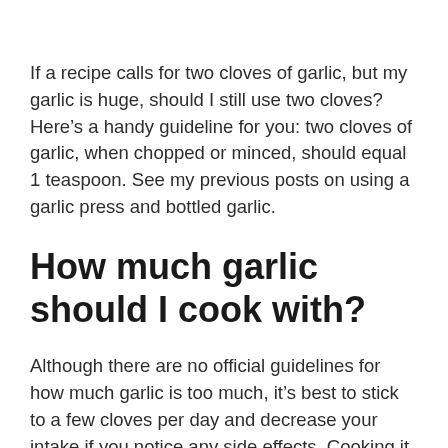If a recipe calls for two cloves of garlic, but my garlic is huge, should I still use two cloves? Here's a handy guideline for you: two cloves of garlic, when chopped or minced, should equal 1 teaspoon. See my previous posts on using a garlic press and bottled garlic.
How much garlic should I cook with?
Although there are no official guidelines for how much garlic is too much, it's best to stick to a few cloves per day and decrease your intake if you notice any side effects. Cooking it may also help prevent side